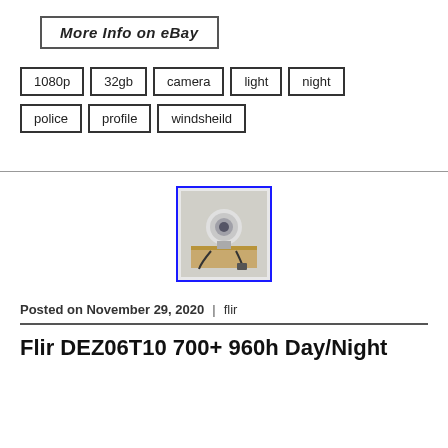[Figure (screenshot): Button labeled 'More Info on eBay' with border]
1080p
32gb
camera
light
night
police
profile
windsheild
[Figure (photo): Product photo of a security camera with cable on a cardboard box, shown inside a blue-bordered image frame]
Posted on November 29, 2020 | flir
Flir DEZ06T10 700+ 960h Day/Night